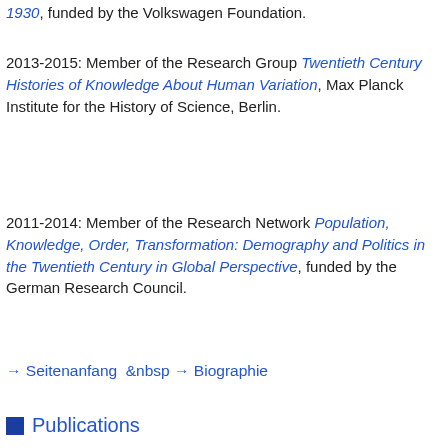1930, funded by the Volkswagen Foundation.
2013-2015: Member of the Research Group Twentieth Century Histories of Knowledge About Human Variation, Max Planck Institute for the History of Science, Berlin.
2011-2014: Member of the Research Network Population, Knowledge, Order, Transformation: Demography and Politics in the Twentieth Century in Global Perspective, funded by the German Research Council.
→ Seitenanfang  &nbsp → Biographie
Publications